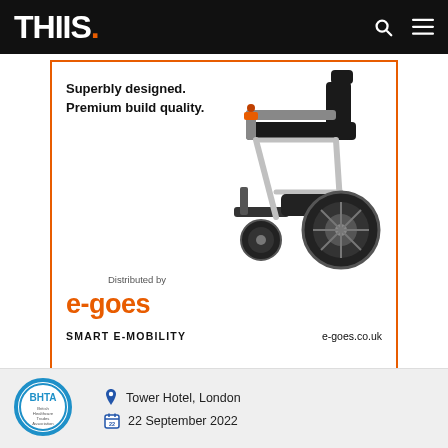THIIS.
[Figure (photo): Advertisement for e-goes Smart E-Mobility electric wheelchair. Features a silver and black foldable power wheelchair. Text reads: 'Superbly designed. Premium build quality. Distributed by e-goes SMART E-MOBILITY e-goes.co.uk']
[Figure (logo): BHTA (British Healthcare Trades Association) circular blue logo]
Tower Hotel, London
22 September 2022